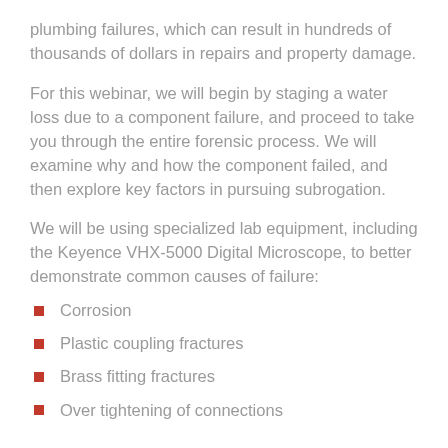plumbing failures, which can result in hundreds of thousands of dollars in repairs and property damage.
For this webinar, we will begin by staging a water loss due to a component failure, and proceed to take you through the entire forensic process. We will examine why and how the component failed, and then explore key factors in pursuing subrogation.
We will be using specialized lab equipment, including the Keyence VHX-5000 Digital Microscope, to better demonstrate common causes of failure:
Corrosion
Plastic coupling fractures
Brass fitting fractures
Over tightening of connections